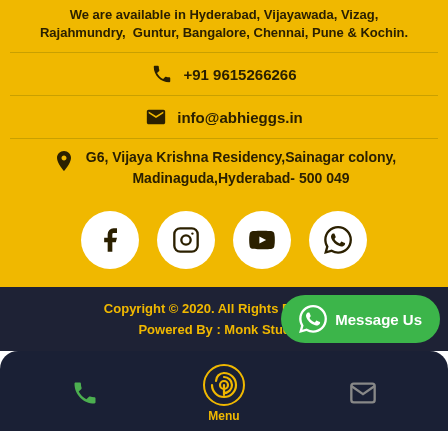We are available in Hyderabad, Vijayawada, Vizag, Rajahmundry, Guntur, Bangalore, Chennai, Pune & Kochin.
+91 9615266266
info@abhieggs.in
G6, Vijaya Krishna Residency,Sainagar colony, Madinaguda,Hyderabad- 500 049
[Figure (illustration): Social media icons: Facebook, Instagram, YouTube, WhatsApp in white circles on yellow background]
Copyright © 2020. All Rights Reserved.
Powered By : Monk Studios
[Figure (illustration): WhatsApp Message Us green button overlay]
[Figure (illustration): Bottom navigation bar with phone icon, fingerprint/menu icon with Menu label, and email icon]